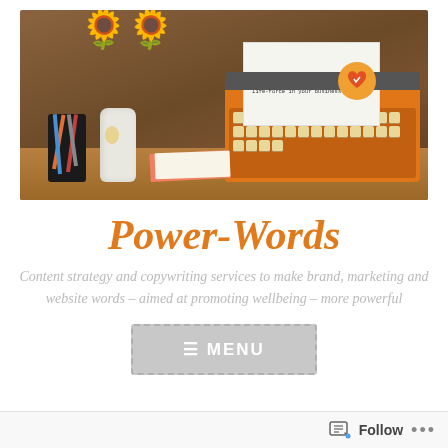[Figure (photo): A photo of an orange typewriter with paper inserted, pencils in a holder, a white vase with sunflowers, on a wooden surface against a brown background. The paper reads: 'Powerful words bring your vision to life, to shine and to grow. And the life-force in your business to flow.']
Power-Words
Content strategy and copywriting services to make brand, marketing and website words – aimed at promoting wellbeing – more powerful
≡ MENU
Follow ...